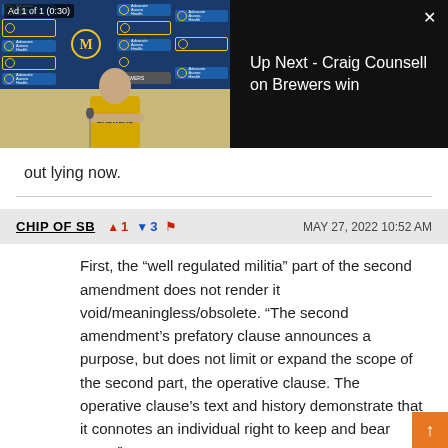[Figure (screenshot): Video player overlay showing a Milwaukee Brewers press conference thumbnail on the left with a man in a yellow Brewers shirt, and 'Up Next - Craig Counsell on Brewers win' text on a black background on the right. Ad label reads 'Ad 1 of 1 (0:30)'. Close button (x) in top right.]
out lying now.
CHIP OF SB  ^1  v3  [flag]  MAY 27, 2022 10:52 AM
First, the "well regulated militia" part of the second amendment does not render it void/meaningless/obsolete. "The second amendment's prefatory clause announces a purpose, but does not limit or expand the scope of the second part, the operative clause. The operative clause's text and history demonstrate that it connotes an individual right to keep and bear arms."